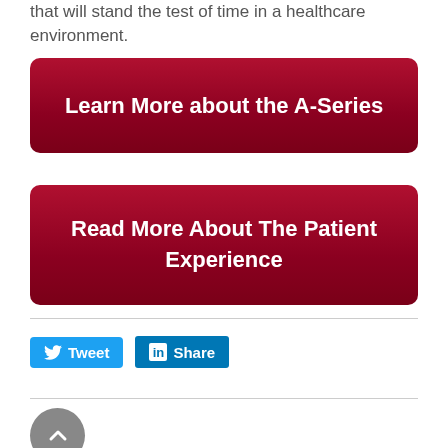that will stand the test of time in a healthcare environment.
Learn More about the A-Series
Read More About The Patient Experience
[Figure (other): Tweet button (Twitter social share) and Share button (LinkedIn social share)]
[Figure (other): Back to top arrow button (circular grey button with upward chevron)]